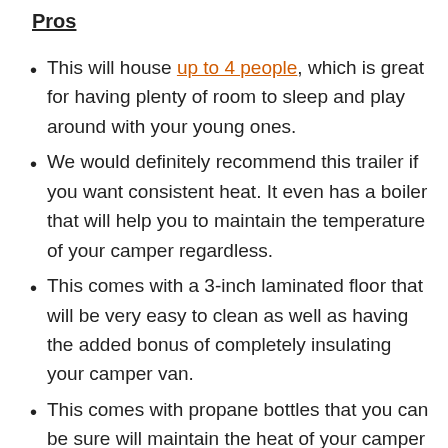Pros
This will house up to 4 people, which is great for having plenty of room to sleep and play around with your young ones.
We would definitely recommend this trailer if you want consistent heat. It even has a boiler that will help you to maintain the temperature of your camper regardless.
This comes with a 3-inch laminated floor that will be very easy to clean as well as having the added bonus of completely insulating your camper van.
This comes with propane bottles that you can be sure will maintain the heat of your camper